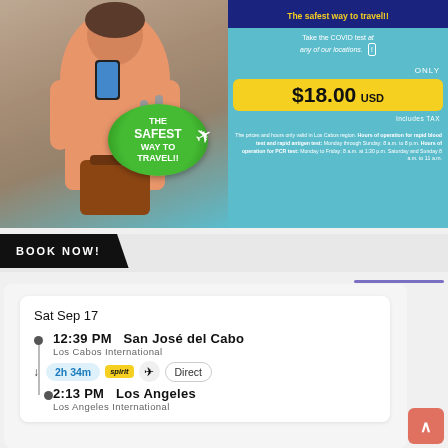[Figure (infographic): COVID test advertisement showing a traveler with luggage on a teal background. Green badge reads 'THE SAFEST WAY TO TRAVEL!!'. Right side shows dark blue header 'The safest way to travel!!', subtitle 'Take the COVID test at any of our locations.', price $18.00 USD (Includes TAX), and hours of operation text.]
BOOK NOW!
Sat Sep 17
12:39 PM   San José del Cabo
Los Cabos International
2h 34m   spirit   ✈   Direct
2:13 PM   Los Angeles
Los Angeles International